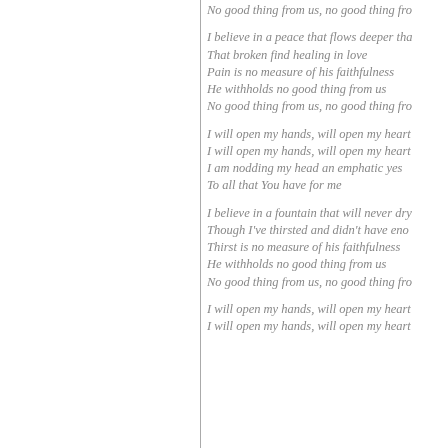No good thing from us, no good thing fro...

I believe in a peace that flows deeper tha...
That broken find healing in love
Pain is no measure of his faithfulness
He withholds no good thing from us
No good thing from us, no good thing fro...

I will open my hands, will open my heart
I will open my hands, will open my heart
I am nodding my head an emphatic yes
To all that You have for me

I believe in a fountain that will never dry
Though I've thirsted and didn't have eno...
Thirst is no measure of his faithfulness
He withholds no good thing from us
No good thing from us, no good thing fro...

I will open my hands, will open my heart
I will open my hands, will open my heart